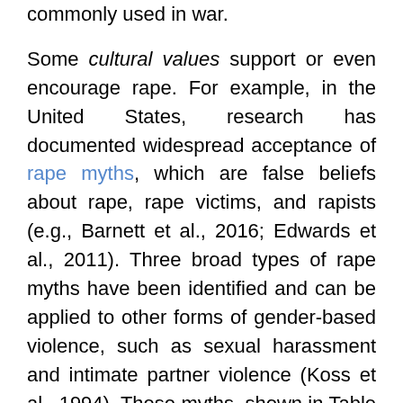commonly used in war.
Some cultural values support or even encourage rape. For example, in the United States, research has documented widespread acceptance of rape myths, which are false beliefs about rape, rape victims, and rapists (e.g., Barnett et al., 2016; Edwards et al., 2011). Three broad types of rape myths have been identified and can be applied to other forms of gender-based violence, such as sexual harassment and intimate partner violence (Koss et al., 1994). These myths, shown in Table 14.1, include victim precipitation (i.e., women ask for or deserve rape), victim fabrication (i.e., women lie about the rape), and victim masochism (i.e., women enjoy being raped). Note that the